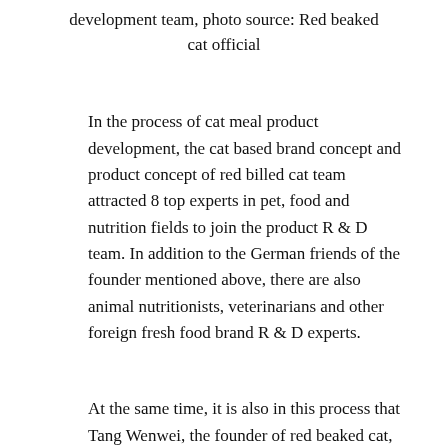development team, photo source: Red beaked cat official
In the process of cat meal product development, the cat based brand concept and product concept of red billed cat team attracted 8 top experts in pet, food and nutrition fields to join the product R & D team. In addition to the German friends of the founder mentioned above, there are also animal nutritionists, veterinarians and other foreign fresh food brand R & D experts.
At the same time, it is also in this process that Tang Wenwei, the founder of red beaked cat,